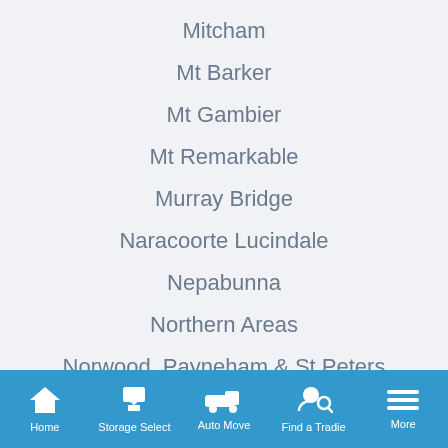Mitcham
Mt Barker
Mt Gambier
Mt Remarkable
Murray Bridge
Naracoorte Lucindale
Nepabunna
Northern Areas
Norwood, Payneham & St Peters
Onkaparinga
Home  Storage Select  Auto Move  Find a Tradie  More